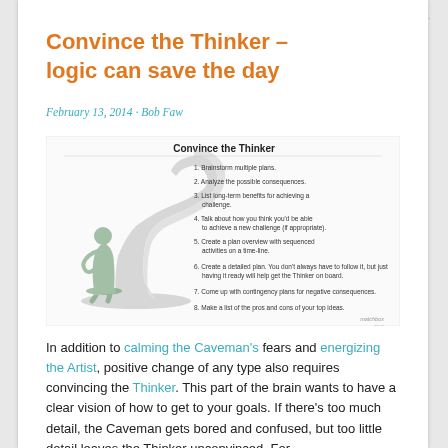Convince the Thinker – logic can save the day
February 13, 2014 · Bob Faw
[Figure (infographic): Infographic titled 'Convince the Thinker' showing a chess piece silhouette and Rodin's Thinker statue alongside 8 numbered steps: 1. Brainstorm multiple plans. 2. Analyze the possible consequences. 3. List long-term benefits for achieving a challenge. 4. Talk about how you think you'd be able to achieve a new challenge (if appropriate). 5. Create a plan overview with sequenced activities on a time-line. 6. Create a detailed plan. You don't always have to follow it, but just having it ready will help get the Thinker on board. 7. Come up with contingency plans for negative consequences. 8. Make a list of the pros and cons of your top ideas. Matchbox logo at bottom right.]
In addition to calming the Caveman's fears and energizing the Artist, positive change of any type also requires convincing the Thinker. This part of the brain wants to have a clear vision of how to get to your goals. If there's too much detail, the Caveman gets bored and confused, but too little detail leaves the Thinker unconvinced. For